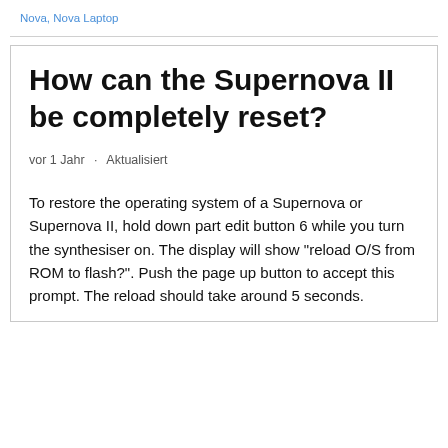Nova, Nova Laptop
How can the Supernova II be completely reset?
vor 1 Jahr · Aktualisiert
To restore the operating system of a Supernova or Supernova II, hold down part edit button 6 while you turn the synthesiser on. The display will show "reload O/S from ROM to flash?". Push the page up button to accept this prompt. The reload should take around 5 seconds.